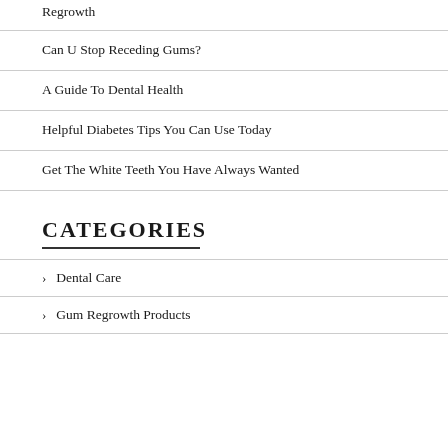Regrowth
Can U Stop Receding Gums?
A Guide To Dental Health
Helpful Diabetes Tips You Can Use Today
Get The White Teeth You Have Always Wanted
CATEGORIES
Dental Care
Gum Regrowth Products